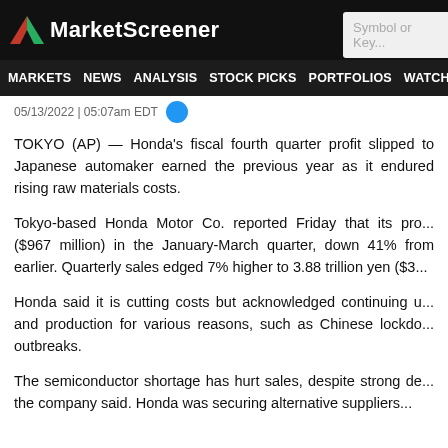MarketScreener
MARKETS NEWS ANALYSIS STOCK PICKS PORTFOLIOS WATCHLI...
05/13/2022 | 05:07am EDT
TOKYO (AP) — Honda's fiscal fourth quarter profit slipped to Japanese automaker earned the previous year as it endured rising raw materials costs.
Tokyo-based Honda Motor Co. reported Friday that its profit ($967 million) in the January-March quarter, down 41% from earlier. Quarterly sales edged 7% higher to 3.88 trillion yen ($3...
Honda said it is cutting costs but acknowledged continuing disruptions and production for various reasons, such as Chinese lockdowns and outbreaks.
The semiconductor shortage has hurt sales, despite strong demand, the company said. Honda was securing alternative suppliers...